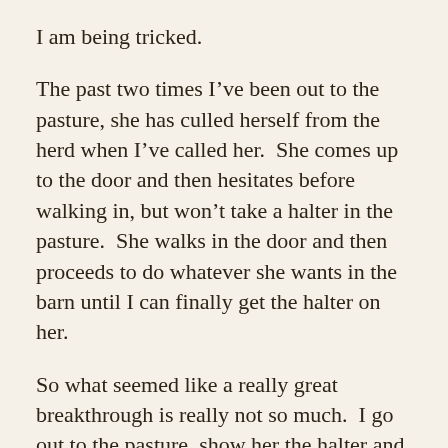I am being tricked.
The past two times I’ve been out to the pasture, she has culled herself from the herd when I’ve called her.  She comes up to the door and then hesitates before walking in, but won’t take a halter in the pasture.  She walks in the door and then proceeds to do whatever she wants in the barn until I can finally get the halter on her.
So what seemed like a really great breakthrough is really not so much.  I go out to the pasture, show her the halter and lead rope, she pins her ears, and then ducks into the herd.  She does a kind of circle around the herd and then comes inside on her own.
She then stands at the hay stall and fusses and